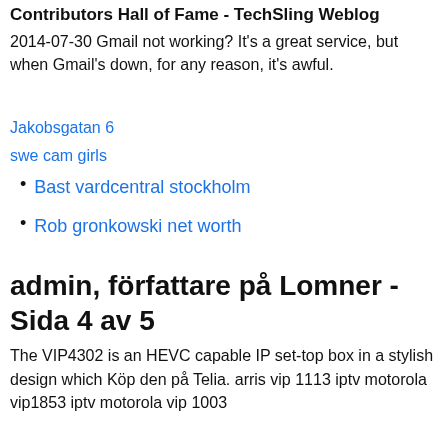Contributors Hall of Fame - TechSling Weblog
2014-07-30 Gmail not working? It's a great service, but when Gmail's down, for any reason, it's awful.
Jakobsgatan 6
swe cam girls
Bast vardcentral stockholm
Rob gronkowski net worth
admin, författare på Lomner - Sida 4 av 5
The VIP4302 is an HEVC capable IP set-top box in a stylish design which Köp den på Telia. arris vip 1113 iptv motorola vip1853 iptv motorola vip 1003